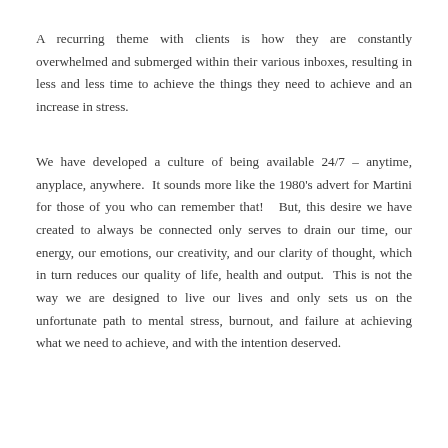A recurring theme with clients is how they are constantly overwhelmed and submerged within their various inboxes, resulting in less and less time to achieve the things they need to achieve and an increase in stress.
We have developed a culture of being available 24/7 – anytime, anyplace, anywhere.  It sounds more like the 1980's advert for Martini for those of you who can remember that!   But, this desire we have created to always be connected only serves to drain our time, our energy, our emotions, our creativity, and our clarity of thought, which in turn reduces our quality of life, health and output.  This is not the way we are designed to live our lives and only sets us on the unfortunate path to mental stress, burnout, and failure at achieving what we need to achieve, and with the intention deserved.